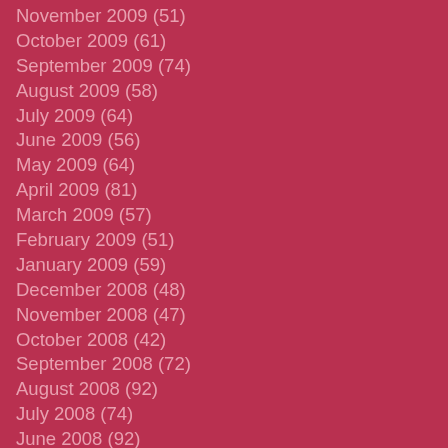November 2009 (51)
October 2009 (61)
September 2009 (74)
August 2009 (58)
July 2009 (64)
June 2009 (56)
May 2009 (64)
April 2009 (81)
March 2009 (57)
February 2009 (51)
January 2009 (59)
December 2008 (48)
November 2008 (47)
October 2008 (42)
September 2008 (72)
August 2008 (92)
July 2008 (74)
June 2008 (92)
May 2008 (124)
April 2008 (97)